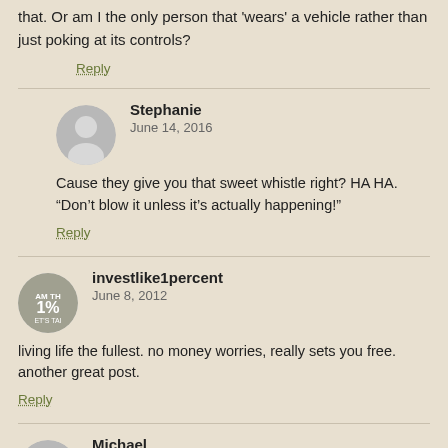that. Or am I the only person that 'wears' a vehicle rather than just poking at its controls?
Reply
Stephanie
June 14, 2016
Cause they give you that sweet whistle right? HA HA. “Don’t blow it unless it’s actually happening!”
Reply
investlike1percent
June 8, 2012
living life the fullest. no money worries, really sets you free. another great post.
Reply
Michael
June 8, 2012